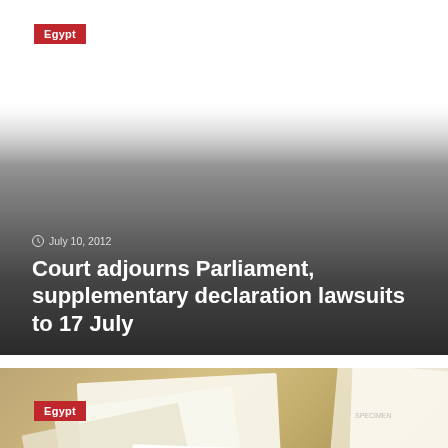Egypt
[Figure (photo): News article hero image with dark gradient overlay showing date July 10, 2012]
July 10, 2012
Court adjourns Parliament, supplementary declaration lawsuits to 17 July
[Figure (photo): Blurred photo of papers/documents with handwriting, Egypt tag overlay]
Egypt